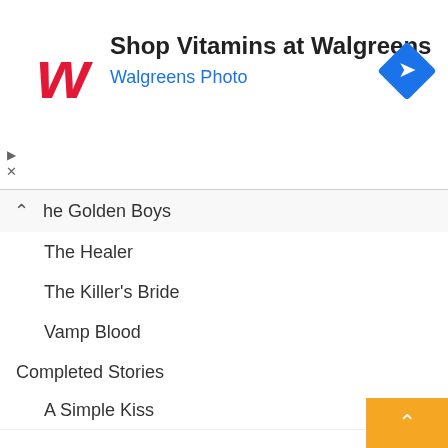[Figure (logo): Walgreens advertisement banner with red W logo, 'Shop Vitamins at Walgreens' heading, 'Walgreens Photo' subtitle in blue, and a blue diamond direction icon on the right]
The Golden Boys
The Healer
The Killer's Bride
Vamp Blood
Completed Stories
A Simple Kiss
A Wife For The Prince
Accidental Bride
Afflicted
Always you
Amaka